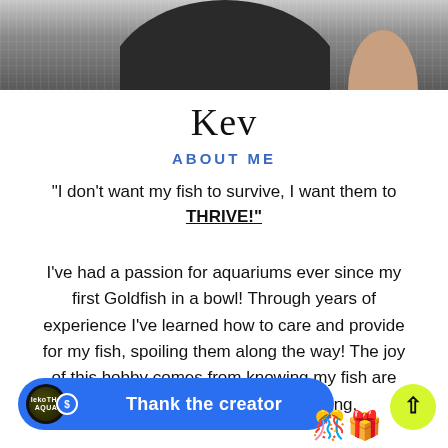[Figure (photo): Partial photo of a person wearing a dark shirt, upper body visible, background appears light/grey]
Kev
ABOUT ME
“I don’t want my fish to survive, I want them to THRIVE!”
I’ve had a passion for aquariums ever since my first Goldfish in a bowl! Through years of experience I’ve learned how to care and provide for my fish, spoiling them along the way! The joy of this hobby comes from knowing my fish are happy, and that’s a wonderful thing.